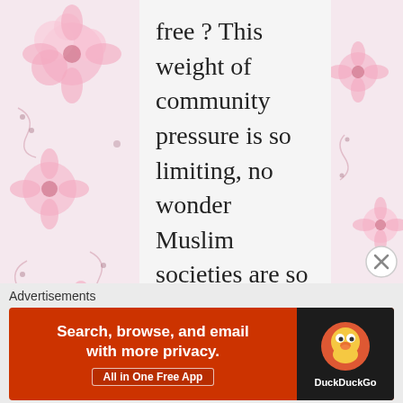free ? This weight of community pressure is so limiting, no wonder Muslim societies are so repressive. You need to make freedom, not repression, a virtue.
★ Like
Reply ↓
Advertisements
[Figure (screenshot): DuckDuckGo advertisement banner: 'Search, browse, and email with more privacy. All in One Free App' on red background with DuckDuckGo logo on dark background]